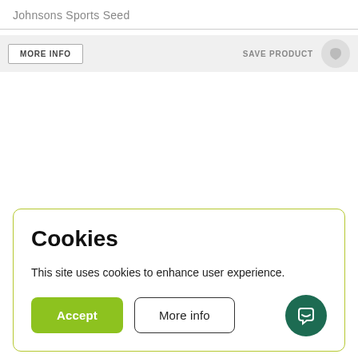Johnsons Sports Seed
[Figure (screenshot): Partial website toolbar with MORE INFO button on the left and SAVE PRODUCT text and icon on the right, on a light grey background]
Cookies
This site uses cookies to enhance user experience.
Accept
More info